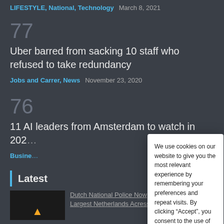LIFESTYLE, National, Technology   March 8, 2021
77
Uber barred from sacking 10 staff who refused to take redundancy
Jobs and Carrer, News   November 23, 2020
76
11 AI leaders from Amsterdam to watch in 202…
Busine…
Latest
Dutch National Police Now Largest Netherlands Acress…
We use cookies on our website to give you the most relevant experience by remembering your preferences and repeat visits. By clicking “Accept”, you consent to the use of ALL the cookies.
Cookie settings   Agree